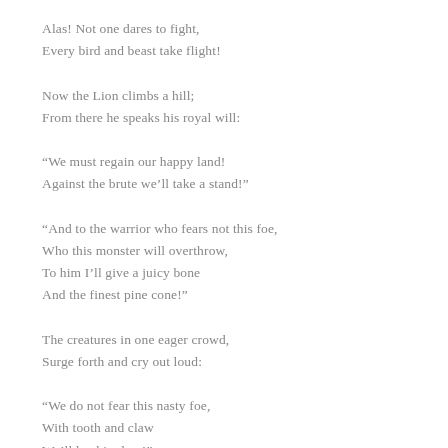Alas! Not one dares to fight,
Every bird and beast take flight!
Now the Lion climbs a hill;
From there he speaks his royal will:
“We must regain our happy land!
Against the brute we’ll take a stand!”
“And to the warrior who fears not this foe,
Who this monster will overthrow,
To him I’ll give a juicy bone
And the finest pine cone!”
The creatures in one eager crowd,
Surge forth and cry out loud:
“We do not fear this nasty foe,
With tooth and claw
We’ll lay him low!”